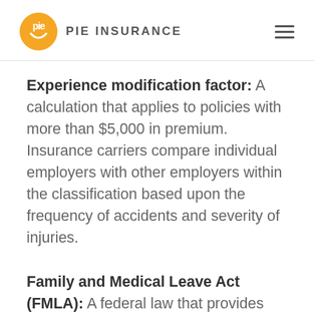PIE INSURANCE
Experience modification factor: A calculation that applies to policies with more than $5,000 in premium. Insurance carriers compare individual employers with other employers within the classification based upon the frequency of accidents and severity of injuries.
Family and Medical Leave Act (FMLA): A federal law that provides certain employees with serious